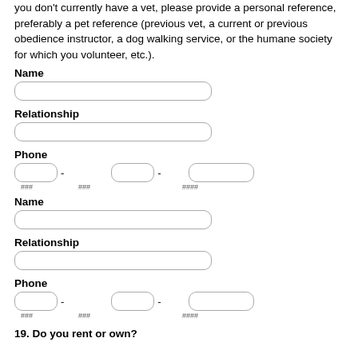you don't currently have a vet, please provide a personal reference, preferably a pet reference (previous vet, a current or previous obedience instructor, a dog walking service, or the humane society for which you volunteer, etc.).
Name
Relationship
Phone
### ### ####
Name
Relationship
Phone
### ### ####
19. Do you rent or own?